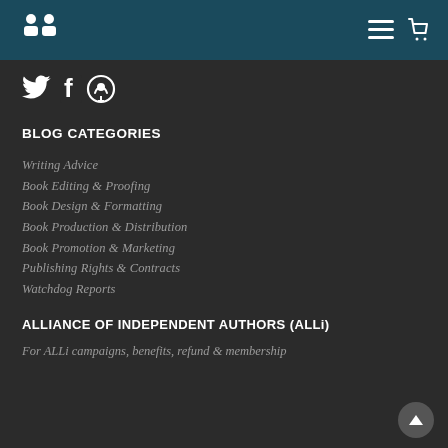Navigation bar with logo and menu/cart icons
[Figure (logo): White book/binoculars icon on teal navigation bar]
[Figure (infographic): Social media icons: Twitter bird, Facebook f, Podcast microphone circle]
BLOG CATEGORIES
Writing Advice
Book Editing & Proofing
Book Design & Formatting
Book Production & Distribution
Book Promotion & Marketing
Publishing Rights & Contracts
Watchdog Reports
ALLIANCE OF INDEPENDENT AUTHORS (ALLi)
For ALLi campaigns, benefits, refund & membership